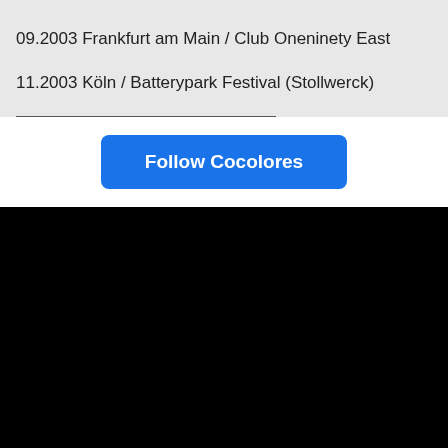09.2003 Frankfurt am Main / Club Oneninety East
11.2003 Köln / Batterypark Festival (Stollwerck)
Follow Cocolores